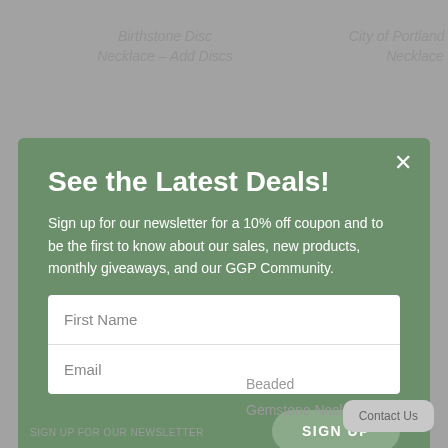Birthstone Disc Necklace – Add Discs
City of Portland Rose Necklace
See the Latest Deals!
Sign up for our newsletter for a 10% off coupon and to be the first to know about our sales, new products, monthly giveaways, and our GGP Community.
First Name
Email
SIGN UP
This site is protected by reCAPTCHA and the Google Privacy Policy and Terms of Service apply.
Beaded
Gemstone Neckla…
SIGN UP FOR OUR NEWSLETTER
Contact Us